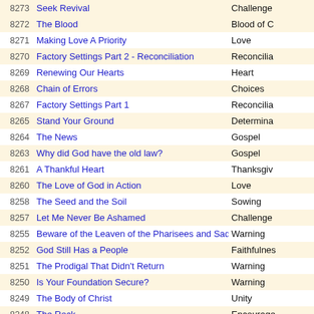| # | Title | Category |
| --- | --- | --- |
| 8273 | Seek Revival | Challenge |
| 8272 | The Blood | Blood of C… |
| 8271 | Making Love A Priority | Love |
| 8270 | Factory Settings Part 2 - Reconciliation | Reconcilia… |
| 8269 | Renewing Our Hearts | Heart |
| 8268 | Chain of Errors | Choices |
| 8267 | Factory Settings Part 1 | Reconcilia… |
| 8265 | Stand Your Ground | Determina… |
| 8264 | The News | Gospel |
| 8263 | Why did God have the old law? | Gospel |
| 8261 | A Thankful Heart | Thanksgiv… |
| 8260 | The Love of God in Action | Love |
| 8258 | The Seed and the Soil | Sowing |
| 8257 | Let Me Never Be Ashamed | Challenge |
| 8255 | Beware of the Leaven of the Pharisees and Sadducees | Warning |
| 8252 | God Still Has a People | Faithfulnes… |
| 8251 | The Prodigal That Didn't Return | Warning |
| 8250 | Is Your Foundation Secure? | Warning |
| 8249 | The Body of Christ | Unity |
| 8248 | The Rock | Encourage… |